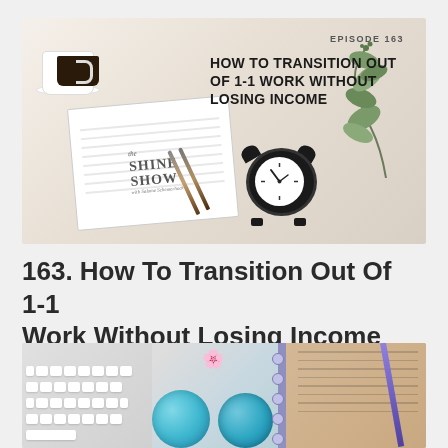[Figure (photo): Podcast thumbnail image for The Shine Show Episode 163. Shows a flat lay with coffee cup, open notebook, two pens, an alarm clock, eucalyptus branches. Text overlay reads 'EPISODE 163' and 'HOW TO TRANSITION OUT OF 1-1 WORK WITHOUT LOSING INCOME'.]
163. How To Transition Out Of 1-1 Work Without Losing Income
[Figure (photo): Partial flat lay photo showing a white keyboard on the left, two teal/turquoise candles with small white flowers in the center, and a brown spiral notebook with a purple pen on the right.]